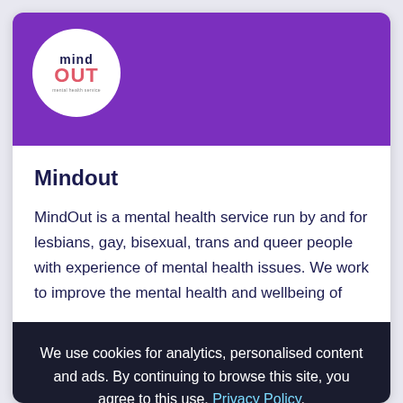[Figure (logo): MindOut logo — white circle on purple background, with 'mind' in dark blue and 'OUT' in pink/red below it]
Mindout
MindOut is a mental health service run by and for lesbians, gay, bisexual, trans and queer people with experience of mental health issues. We work to improve the mental health and wellbeing of
We use cookies for analytics, personalised content and ads. By continuing to browse this site, you agree to this use. Privacy Policy.
Close